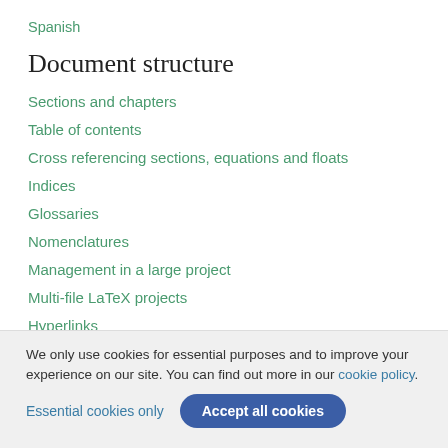Spanish
Document structure
Sections and chapters
Table of contents
Cross referencing sections, equations and floats
Indices
Glossaries
Nomenclatures
Management in a large project
Multi-file LaTeX projects
Hyperlinks
We only use cookies for essential purposes and to improve your experience on our site. You can find out more in our cookie policy.
Essential cookies only | Accept all cookies